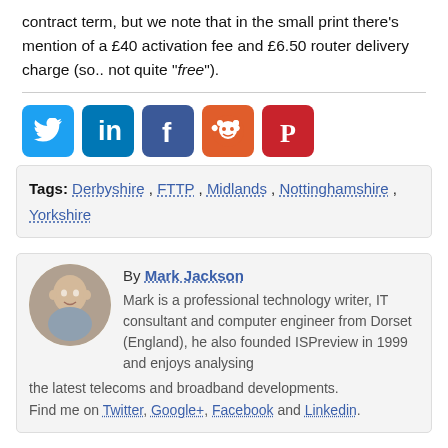contract term, but we note that in the small print there's mention of a £40 activation fee and £6.50 router delivery charge (so.. not quite "free").
[Figure (infographic): Social share buttons: Twitter (blue), LinkedIn (blue), Facebook (dark blue), Reddit (orange), Pinterest (red)]
Tags: Derbyshire , FTTP , Midlands , Nottinghamshire , Yorkshire
By Mark Jackson
Mark is a professional technology writer, IT consultant and computer engineer from Dorset (England), he also founded ISPreview in 1999 and enjoys analysing the latest telecoms and broadband developments.
Find me on Twitter, Google+, Facebook and Linkedin.